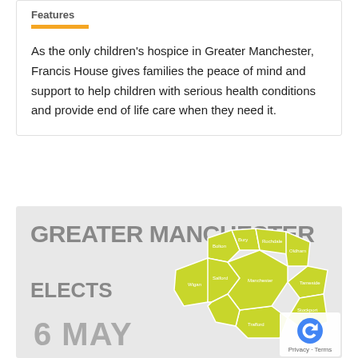Features
As the only children's hospice in Greater Manchester, Francis House gives families the peace of mind and support to help children with serious health conditions and provide end of life care when they need it.
[Figure (map): Infographic showing a map of Greater Manchester with yellow/green borough outlines on a light grey background. Text reads 'GREATER MANCHESTER ELECTS 6 MAY'. A reCAPTCHA badge appears in the bottom-right corner.]